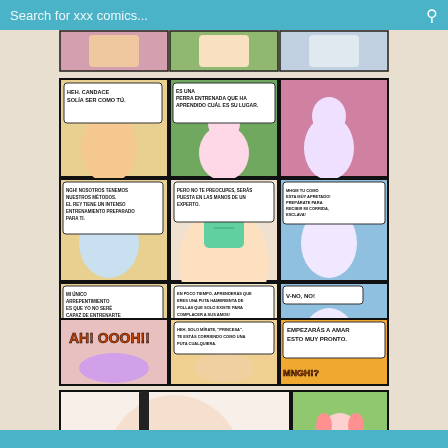Search for xxx comics...
[Figure (illustration): Adult animated comic page strip showing cartoon characters in explicit scenes with Spanish-language speech bubbles. Top partial strip visible. Middle full comic strip with multiple panels containing Spanish text including: 'HEH, CANDACE SOLÍA SER COMO TÚ.', 'ES UNA PERRA ENTRENADA QUE HA APRENDIDO CUÁL ES SU LUGAR.', 'NGH! NOSOTROS TENEMOS NUESTROS MÉTODOS. EL REY TIENE UN INTENSO ENTRENAMIENTO PREPARADO PARA TI.', 'PERO NO TE PREOCUPES, SERÁS PUESTA EN LAS MANOS DE UN EXPERTO.', 'MHGM TU COMO ESTA MÚY APRETADO! PREPÁRATE PARA RECIBIR MI CORRIDA, ESCLAVA!', 'MI ÚNICO ARREPENTIMIENTO ES QUE YO NO SERÉ CAPAZ DE ENTRENARTE PERSONALMENTE.', 'EN POCO TIEMPO, APRENDERÁS QUE ERES UNA PUTA HAMBRIENTA DE POLLAS QUE SOLO EXISTE PARA COMPLACER A SUS AMOS!', 'V-NO, NO!', 'AH! OOOH!!', 'HEH, SOLO MÍRATE, "PRINCESA". TE ESTÁS CORRIENDO COMO UNA PUTA CUALQUIERA.', 'EMPEZARÁS A AMAR ESTO MUY PRONTO.', 'MNGH!?'. Bottom partial comic strip visible.]